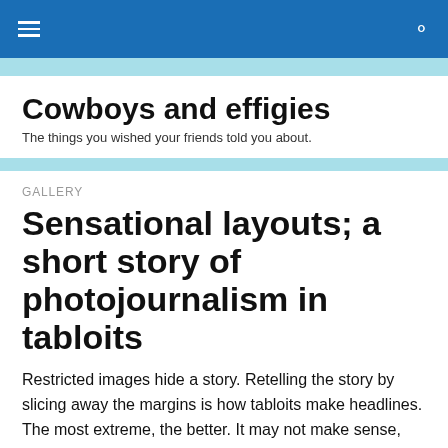Cowboys and effigies — navigation bar
Cowboys and effigies
The things you wished your friends told you about.
GALLERY
Sensational layouts; a short story of photojournalism in tabloits
Restricted images hide a story. Retelling the story by slicing away the margins is how tabloits make headlines. The most extreme, the better. It may not make sense, but the readers' shock deters them from revisiting and